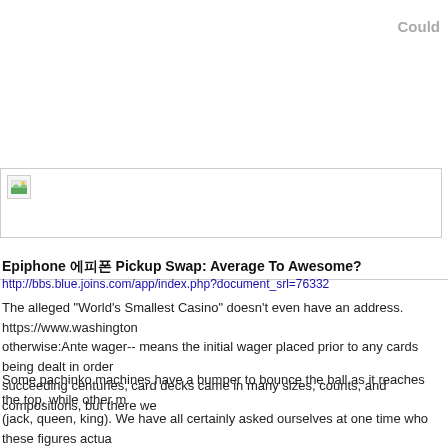Could
[Figure (other): Broken image placeholder with a small landscape icon in top-left corner, inside a bordered rectangle]
Epiphone 에피폰 Pickup Swap: Average To Awesome?
http://bbs.blue.joins.com/app/index.php?document_srl=76332
The alleged "World's Smallest Casino" doesn't even have an address. https://www.washington otherwise:Ante wager-- means the initial wager placed prior to any cards being dealt in order succeeding centuries, card decks came in many sizes, counts, and compositions, but there we
Some pachinko machines have a bumper to bounce the ball as it reaches the top, while other (jack, queen, king). We have all certainly asked ourselves at one time who these figures actua of course, some of the best developers out there tagged along. The house is geared to win in